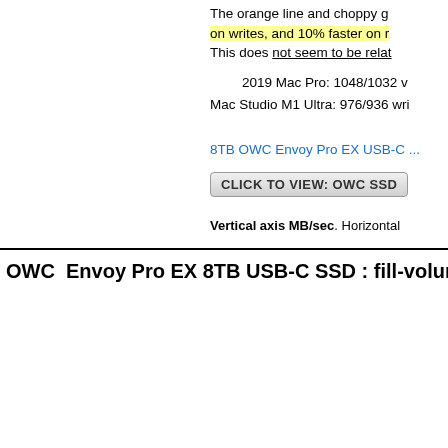The orange line and choppy g... on writes, and 10% faster on r... This does not seem to be relat...
2019 Mac Pro: 1048/1032 w... Mac Studio M1 Ultra: 976/936 wri...
8TB OWC Envoy Pro EX USB-C ...
CLICK TO VIEW: OWC SSD ...
Vertical axis MB/sec. Horizontal ...
OWC  Envoy Pro EX 8TB USB-C SSD : fill-volume